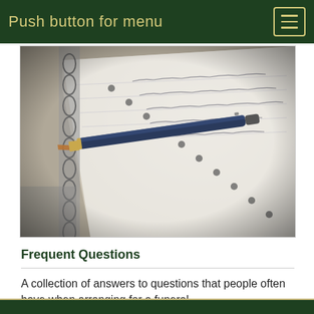Push button for menu
[Figure (photo): Close-up photo of a dark blue ballpoint pen resting on a spiral-bound notebook with handwritten notes]
Frequent Questions
A collection of answers to questions that people often have when arranging for a funeral.